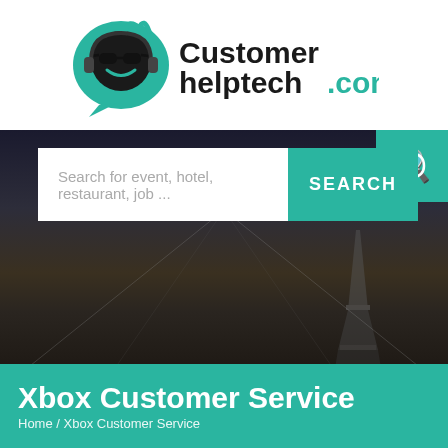[Figure (logo): Customerhelptech.com logo with teal chat bubble icon wearing sunglasses]
[Figure (photo): Dark dramatic cityscape hero image showing Paris city streets and Eiffel Tower at dusk with dark overlay]
Search for event, hotel, restaurant, job ...
SEARCH
Xbox Customer Service
Home / Xbox Customer Service